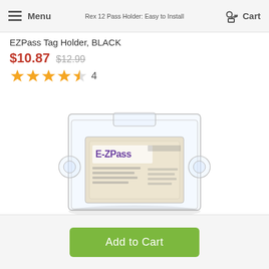Menu  |  Rex 12 Pass Holder: Easy to Install  |  Cart
EZPass Tag Holder, BLACK
$10.87  $12.99
★★★★½  4
[Figure (photo): Clear plastic EZPass tag holder containing a white/beige EZPass transponder card, with suction cups on the sides for windshield mounting.]
Add to Cart